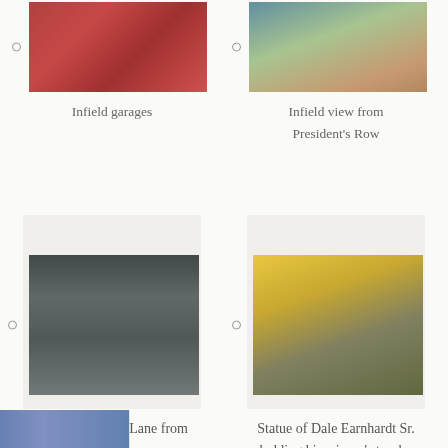[Figure (photo): Infield garages with red doors and Garage signage]
Infield garages
[Figure (photo): Infield view from President's Row showing buildings and palm trees]
Infield view from President's Row
[Figure (photo): Aerial view of Victory Lane at Daytona International Speedway from a skybox]
View of Victory Lane from a skybox
[Figure (photo): Statue of Dale Earnhardt Sr. holding his winner's trophy in front of Daytona International Speedway]
Statue of Dale Earnhardt Sr. holding his winner's trophy
[Figure (photo): Partial image at bottom of page (cut off)]